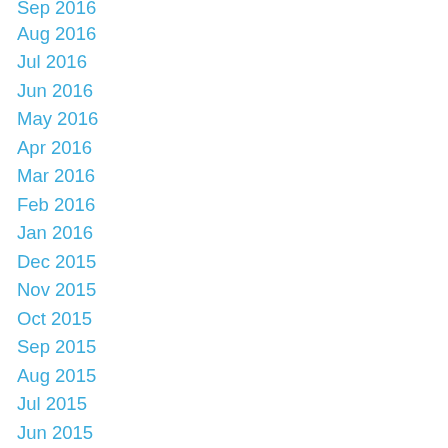Sep 2016
Aug 2016
Jul 2016
Jun 2016
May 2016
Apr 2016
Mar 2016
Feb 2016
Jan 2016
Dec 2015
Nov 2015
Oct 2015
Sep 2015
Aug 2015
Jul 2015
Jun 2015
May 2015
Apr 2015
Mar 2015
Feb 2015